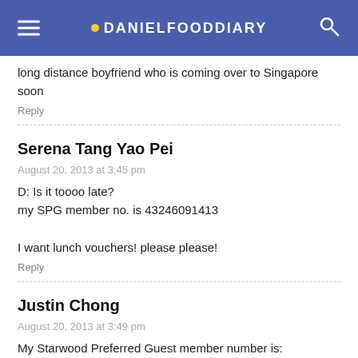DANIELFOODDIARY
long distance boyfriend who is coming over to Singapore soon
Reply
Serena Tang Yao Pei
August 20, 2013 at 3:45 pm
D: Is it toooo late?
my SPG member no. is 43246091413

I want lunch vouchers! please please!
Reply
Justin Chong
August 20, 2013 at 3:49 pm
My Starwood Preferred Guest member number is: 43246093220. Ok with either but prefer dinner vouchers to have a more memorable and intimate